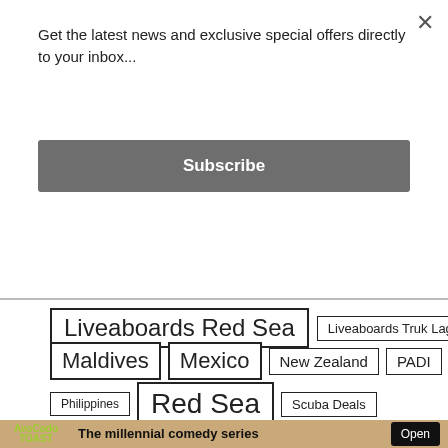Get the latest news and exclusive special offers directly to your inbox...
Subscribe
Liveaboards Red Sea
Liveaboards Truk Lagoon
Maldives
Mexico
New Zealand
PADI
Philippines
Red Sea
Scuba Deals
Scuba Diver Travel
tuba Diving Egypt
[Figure (photo): Avocado Toast comedy series advertisement banner with logo, open button, and website URL avocadotoasttheseries.com]